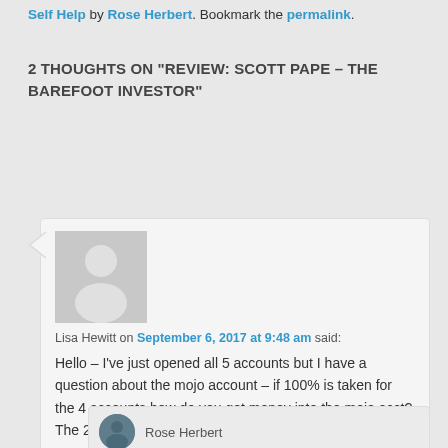This entry was posted in Book Reviews, Non Fiction, Self Help by Rose Herbert. Bookmark the permalink.
2 THOUGHTS ON "REVIEW: SCOTT PAPE – THE BAREFOOT INVESTOR"
[Figure (illustration): Default user avatar - grey silhouette of a person on grey background]
Lisa Hewitt on September 6, 2017 at 9:48 am said:
Hello – I've just opened all 5 accounts but I have a question about the mojo account – if 100% is taken for the 4 accounts how do you get money into the mojo acct? The 2000 is in but where does the next lot come from ?
Reply ↓
[Figure (illustration): Small circular avatar with an image of Rose Herbert]
Rose Herbert